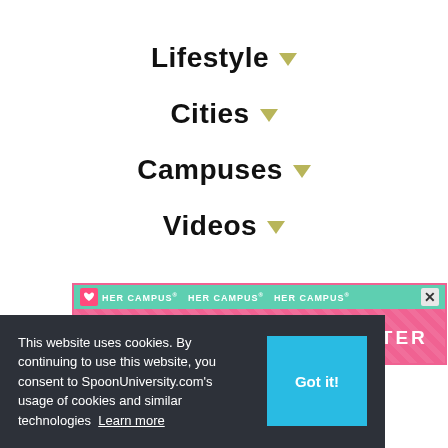Lifestyle ▼
Cities ▼
Campuses ▼
Videos ▼
[Figure (screenshot): HER CAMPUS banner advertisement with teal header showing 'HER CAMPUS' repeated three times and pink section reading 'START YOUR OWN CHAPTER']
This website uses cookies. By continuing to use this website, you consent to SpoonUniversity.com's usage of cookies and similar technologies  Learn more